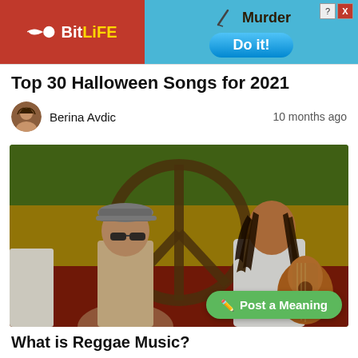[Figure (screenshot): BitLife advertisement banner with Murder / Do it! call to action on a red and blue background]
Top 30 Halloween Songs for 2021
Berina Avdic    10 months ago
[Figure (photo): Illustrated/painted image of two reggae musicians in front of a large peace sign painted on a wall in Rastafarian colors (red, yellow, green). One man wearing a cap and sunglasses, another with dreadlocks playing an acoustic guitar.]
What is Reggae Music?